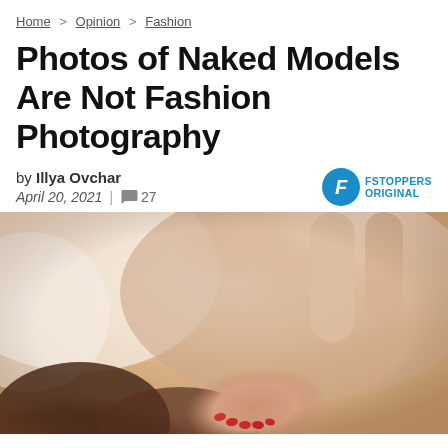Home > Opinion > Fashion
Photos of Naked Models Are Not Fashion Photography
by Illya Ovchar
April 20, 2021 | 27
[Figure (photo): A woman with red-painted nails lying on a bed, viewed from above, with arms raised. The image is softly lit with warm, blurred tones.]